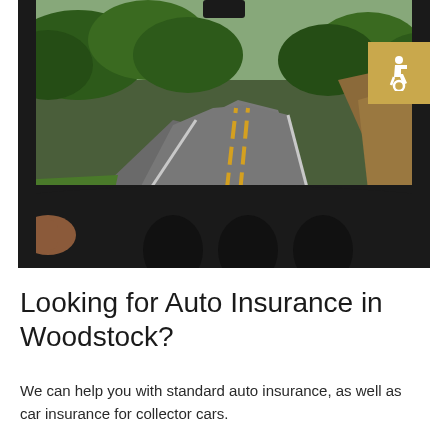[Figure (photo): View from inside a car looking out through the windshield at a winding two-lane road with yellow center lines, surrounded by green trees on the left and brown terrain on the right. The car dashboard is visible in the foreground.]
Looking for Auto Insurance in Woodstock?
We can help you with standard auto insurance, as well as car insurance for collector cars.